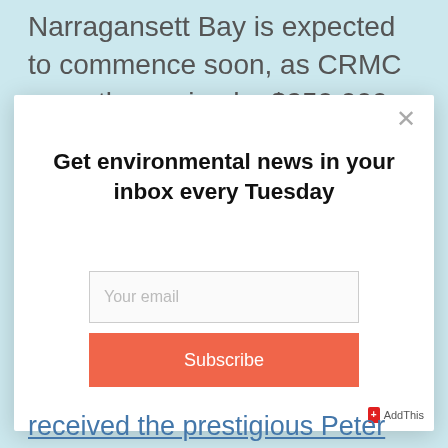Narragansett Bay is expected to commence soon, as CRMC recently received a $250,000 grant for a Bay
[Figure (screenshot): Email newsletter subscription modal popup with heading 'Get environmental news in your inbox every Tuesday', an email input field, and a Subscribe button in orange-red. A close (×) button is in the top-right corner.]
received the prestigious Peter